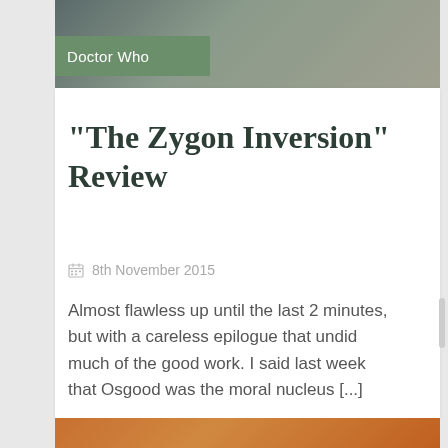[Figure (photo): A photograph showing two people, one wearing a dark coat and another in a tan/beige coat, outdoors. The image is partially visible at the top of the page.]
Doctor Who
“The Zygon Inversion” Review
8th November 2015
Almost flawless up until the last 2 minutes, but with a careless epilogue that undid much of the good work. I said last week that Osgood was the moral nucleus [...]
[Figure (photo): Bottom strip of a second image, showing warm orange/brown tones, partially visible at the very bottom of the page.]